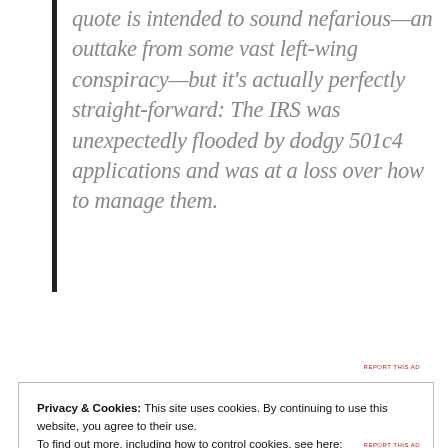quote is intended to sound nefarious—an outtake from some vast left-wing conspiracy—but it's actually perfectly straight-forward: The IRS was unexpectedly flooded by dodgy 501c4 applications and was at a loss over how to manage them.
[Figure (other): Red advertisement banner with white border reading: The best stories on the web – ours, and everyone else's.]
Privacy & Cookies: This site uses cookies. By continuing to use this website, you agree to their use.
To find out more, including how to control cookies, see here:
Cookie Policy
Close and accept